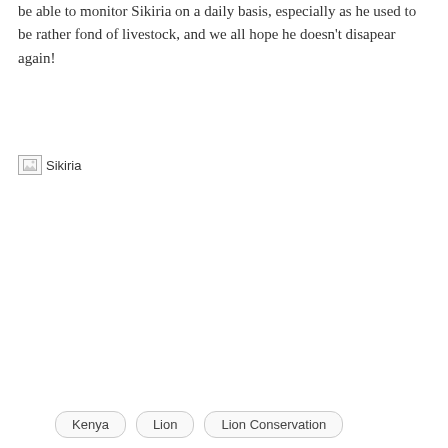be able to monitor Sikiria on a daily basis, especially as he used to be rather fond of livestock, and we all hope he doesn't disapear again!
[Figure (photo): Broken/missing image placeholder labeled 'Sikiria']
Kenya
Lion
Lion Conservation